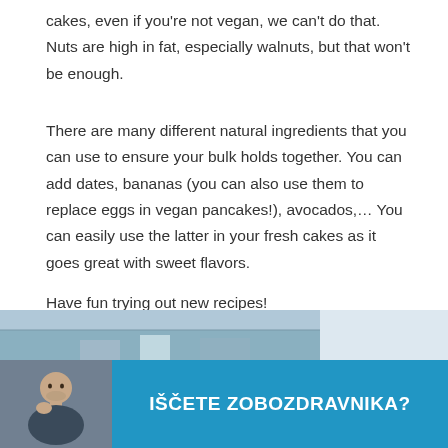cakes, even if you're not vegan, we can't do that. Nuts are high in fat, especially walnuts, but that won't be enough.
There are many different natural ingredients that you can use to ensure your bulk holds together. You can add dates, bananas (you can also use them to replace eggs in vegan pancakes!), avocados,… You can easily use the latter in your fresh cakes as it goes great with sweet flavors.
Have fun trying out new recipes!
AK
Photo source: Unsplash
[Figure (infographic): Promotional banner with a man thinking on the left and blue background with text 'IŠČETE ZOBOZDRAVNIKA?' on the right, with landscape photo strip below.]